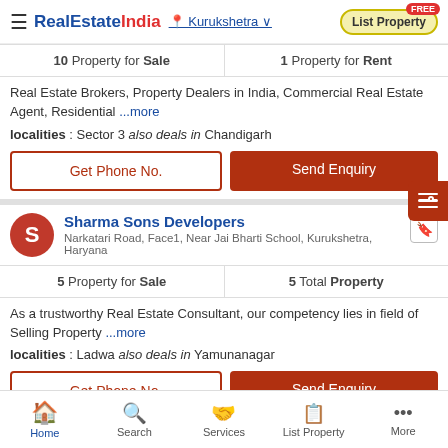RealEstateIndia — Kurukshetra — List Property FREE
| Sale | Rent |
| --- | --- |
| 10 Property for Sale | 1 Property for Rent |
Real Estate Brokers, Property Dealers in India, Commercial Real Estate Agent, Residential ...more
localities : Sector 3 also deals in Chandigarh
Get Phone No.
Send Enquiry
Sharma Sons Developers
Narkatari Road, Face1, Near Jai Bharti School, Kurukshetra, Haryana
| Sale | Total |
| --- | --- |
| 5 Property for Sale | 5 Total Property |
As a trustworthy Real Estate Consultant, our competency lies in field of Selling Property ...more
localities : Ladwa also deals in Yamunanagar
Get Phone No.
Send Enquiry
Home  Search  Services  List Property  More